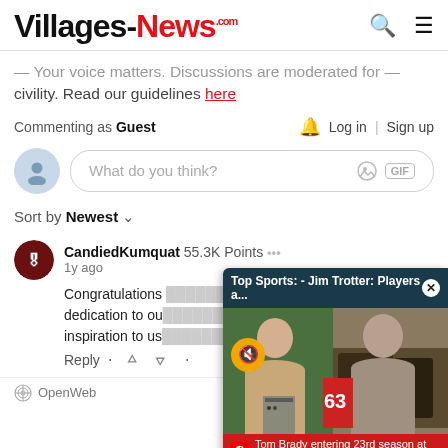Villages-News.com
Your voice matters. Discussions are moderated for civility. Read our guidelines here
Commenting as Guest   Log in  Sign up
What do you think?
Sort by Newest
CandiedKumquat 55.3K Points
1y ago
Congratulations dedication to our inspiration to us
Reply
[Figure (screenshot): Video overlay showing 'Top Sports: - Jim Trotter: Players a...' with two sports commentators and caption 'Tom Brady entering 23rd season at age 45']
OpenWeb